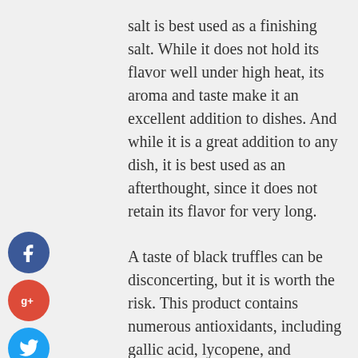salt is best used as a finishing salt. While it does not hold its flavor well under high heat, its aroma and taste make it an excellent addition to dishes. And while it is a great addition to any dish, it is best used as an afterthought, since it does not retain its flavor for very long.
A taste of black truffles can be disconcerting, but it is worth the risk. This product contains numerous antioxidants, including gallic acid, lycopene, and homogentisic acid. Lycopene is a red carotenoid found in many vegetables and fruits. It protects DNA and is important for maintaining a healthy immune system. It also reduces
[Figure (other): Social sharing icons: Facebook (blue circle with f), Google+ (red circle with g+), Twitter (light blue circle with bird), Add/Plus (dark circle with +)]